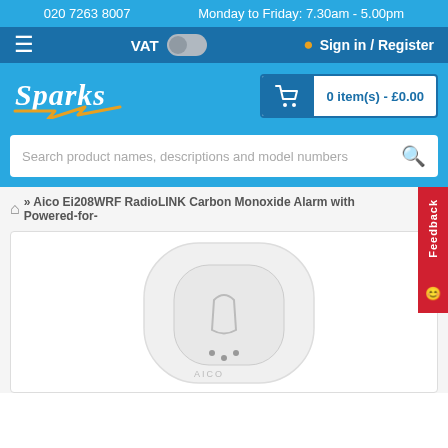020 7263 8007    Monday to Friday: 7.30am - 5.00pm
VAT  Sign in / Register
[Figure (logo): Sparks electrical retailer logo in white italic script with orange lightning bolt underline]
0 item(s) - £0.00
Search product names, descriptions and model numbers
» Aico Ei208WRF RadioLINK Carbon Monoxide Alarm with Powered-for-
[Figure (photo): White rounded-rectangular carbon monoxide alarm device (Aico Ei208WRF) photographed on white background]